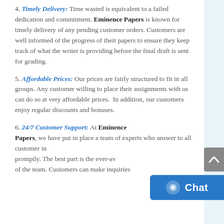4. Timely Delivery: Time wasted is equivalent to a failed dedication and commitment. Eminence Papers is known for timely delivery of any pending customer orders. Customers are well informed of the progress of their papers to ensure they keep track of what the writer is providing before the final draft is sent for grading.
5. Affordable Prices: Our prices are fairly structured to fit in all groups. Any customer willing to place their assignments with us can do so at very affordable prices. In addition, our customers enjoy regular discounts and bonuses.
6. 24/7 Customer Support: At Eminence Papers, we have put in place a team of experts who answer to all customer inquiries promptly. The best part is the ever-availability of the team. Customers can make inquiries